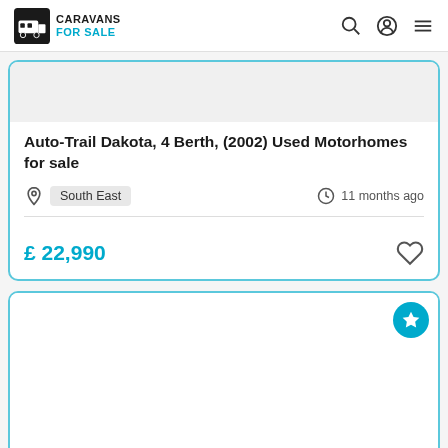Caravans For Sale
Auto-Trail Dakota, 4 Berth, (2002) Used Motorhomes for sale
South East | 11 months ago
£ 22,990
[Figure (other): Second listing card with featured star badge, image area blank/loading]